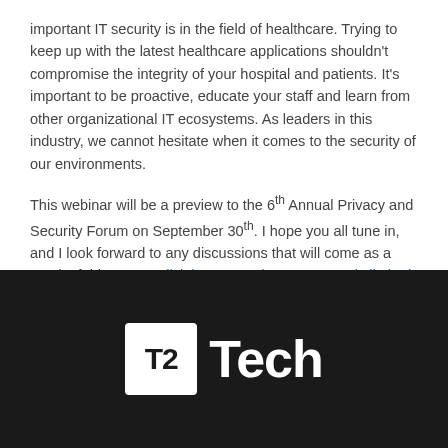important IT security is in the field of healthcare. Trying to keep up with the latest healthcare applications shouldn't compromise the integrity of your hospital and patients. It's important to be proactive, educate your staff and learn from other organizational IT ecosystems. As leaders in this industry, we cannot hesitate when it comes to the security of our environments.
This webinar will be a preview to the 6th Annual Privacy and Security Forum on September 30th. I hope you all tune in, and I look forward to any discussions that will come as a result of this event. Click here to register as space is limited.
[Figure (logo): T2 Tech logo — white square box with 'T2' in black bold text, followed by 'Tech' in white bold text, all on a dark/black background]